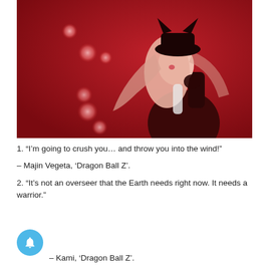[Figure (photo): Anime figure on red background with bokeh light orbs arranged in a curve. The figure has pink hair, dark hat with cat ears, and dark outfit. Background is deep red.]
1. “I’m going to crush you… and throw you into the wind!”
– Majin Vegeta, ‘Dragon Ball Z’.
2. “It’s not an overseer that the Earth needs right now. It needs a warrior.”
– Kami, ‘Dragon Ball Z’.